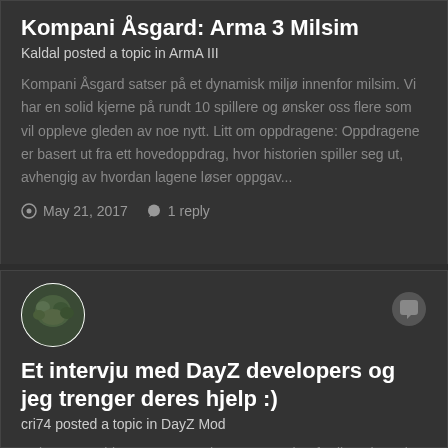Kompani Åsgard: Arma 3 Milsim
Kaldal posted a topic in ArmA III
Kompani Åsgard satser på et dynamisk miljø innenfor milsim. Vi har en solid kjerne på rundt 10 spillere og ønsker oss flere som vil oppleve gleden av noe nytt. Litt om oppdragene: Oppdragene er basert ut fra ett hovedoppdrag, hvor historien spiller seg ut, avhengig av hvordan lagene løser oppgav...
May 21, 2017   1 reply
[Figure (photo): User avatar - circular profile picture with green/dark tones]
Et intervju med DayZ developers og jeg trenger deres hjelp :)
cri74 posted a topic in DayZ Mod
Heisann Zombie Hunters! Jeg har nettopp gjort ferdig et intervju med Ivan Buchta, Creative Director - Bohemia Interactive, som kan leses på forsiden om ikke så lenge. Ikke nok med det, men Jeg planlegger også et intervju med DayZ developers og...